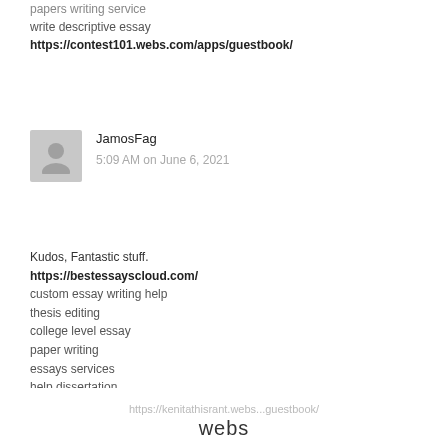papers writing service
write descriptive essay
https://contest101.webs.com/apps/guestbook/
JamosFag
5:09 AM on June 6, 2021
Kudos, Fantastic stuff.
https://bestessayscloud.com/
custom essay writing help
thesis editing
college level essay
paper writing
essays services
help dissertation
key to writing a good essay
writing paper
essay writing for kids
homeworks help
improve essay writing
thesis writing help
https://kenitathisrant.webs...guestbook/
webs